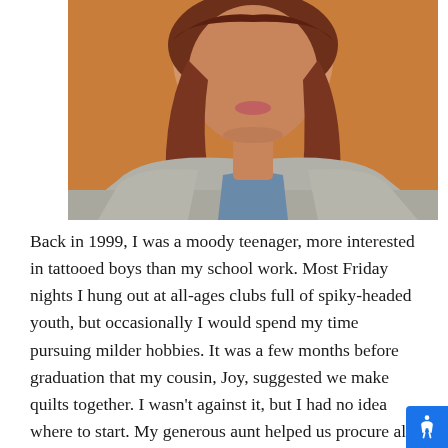[Figure (photo): A woman with long reddish-brown hair, wearing a grey cardigan over a blue denim shirt, smiling, photographed from the shoulders up against a warm orange/tan background. The photo is cropped to show her face and upper body.]
Back in 1999, I was a moody teenager, more interested in tattooed boys than my school work. Most Friday nights I hung out at all-ages clubs full of spiky-headed youth, but occasionally I would spend my time pursuing milder hobbies. It was a few months before graduation that my cousin, Joy, suggested we make quilts together. I wasn't against it, but I had no idea where to start. My generous aunt helped us procure all the necessary tools and